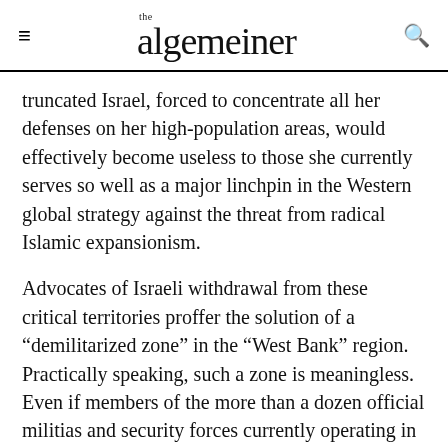the algemeiner
truncated Israel, forced to concentrate all her defenses on her high-population areas, would effectively become useless to those she currently serves so well as a major linchpin in the Western global strategy against the threat from radical Islamic expansionism.
Advocates of Israeli withdrawal from these critical territories proffer the solution of a “demilitarized zone” in the “West Bank” region. Practically speaking, such a zone is meaningless. Even if members of the more than a dozen official militias and security forces currently operating in the Palestinian Authority refrain from carrying out terrorist attacks themselves, the “unofficial”